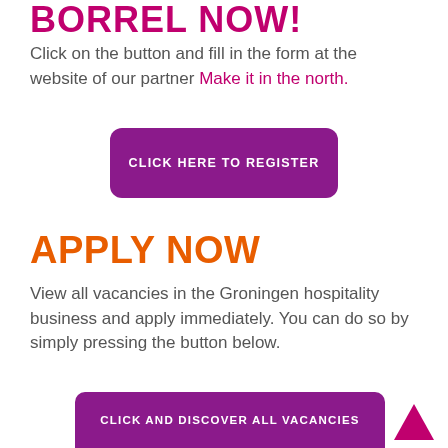BORREL NOW!
Click on the button and fill in the form at the website of our partner Make it in the north.
[Figure (other): Purple rounded button labeled CLICK HERE TO REGISTER]
APPLY NOW
View all vacancies in the Groningen hospitality business and apply immediately. You can do so by simply pressing the button below.
[Figure (other): Purple rounded button labeled CLICK AND DISCOVER ALL VACANCIES]
[Figure (other): Purple upward-pointing triangle arrow in bottom-right corner]